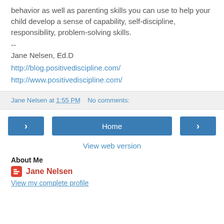behavior as well as parenting skills you can use to help your child develop a sense of capability, self-discipline, responsibility, problem-solving skills.
--
Jane Nelsen, Ed.D
http://blog.positivediscipline.com/
http://www.positivediscipline.com/
Jane Nelsen at 1:55 PM   No comments:
Home
View web version
About Me
Jane Nelsen
View my complete profile